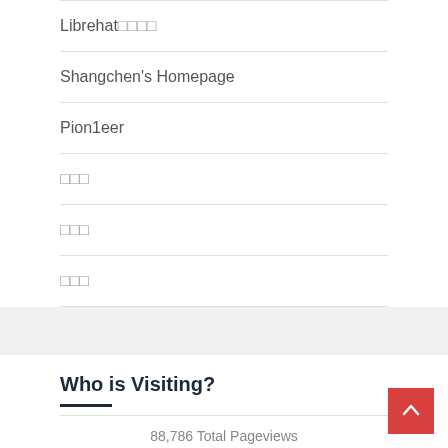Librehat□□□□
Shangchen's Homepage
Pion1eer
□□□
□□□
□□□
Who is Visiting?
88,786 Total Pageviews
[Figure (map): World map showing visitor locations, dark gray continents on white background]